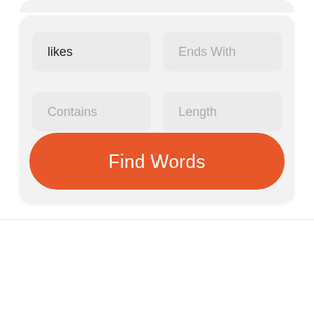[Figure (screenshot): Mobile app UI screenshot showing a search form card with four input fields: 'likes' (filled), 'Ends With' (placeholder), 'Contains' (placeholder), 'Length' (placeholder), and an orange 'Find Words' button.]